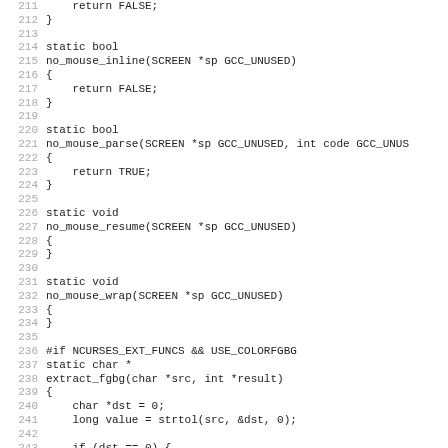Source code listing, lines 211-243, C code for no_mouse_* functions and extract_fgbg function